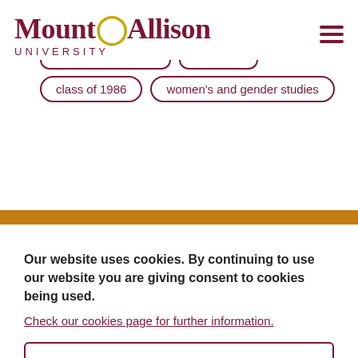MountAllison UNIVERSITY
class of 1986
women's and gender studies
Our website uses cookies. By continuing to use our website you are giving consent to cookies being used. Check our cookies page for further information.
Accept.